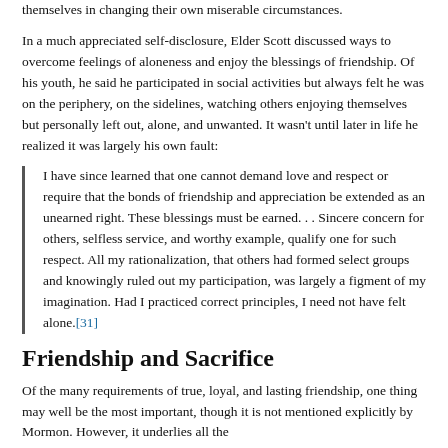themselves in changing their own miserable circumstances.
In a much appreciated self-disclosure, Elder Scott discussed ways to overcome feelings of aloneness and enjoy the blessings of friendship. Of his youth, he said he participated in social activities but always felt he was on the periphery, on the sidelines, watching others enjoying themselves but personally left out, alone, and unwanted. It wasn't until later in life he realized it was largely his own fault:
I have since learned that one cannot demand love and respect or require that the bonds of friendship and appreciation be extended as an unearned right. These blessings must be earned. . . Sincere concern for others, selfless service, and worthy example, qualify one for such respect. All my rationalization, that others had formed select groups and knowingly ruled out my participation, was largely a figment of my imagination. Had I practiced correct principles, I need not have felt alone.[31]
Friendship and Sacrifice
Of the many requirements of true, loyal, and lasting friendship, one thing may well be the most important, though it is not mentioned explicitly by Mormon. However, it underlies all the